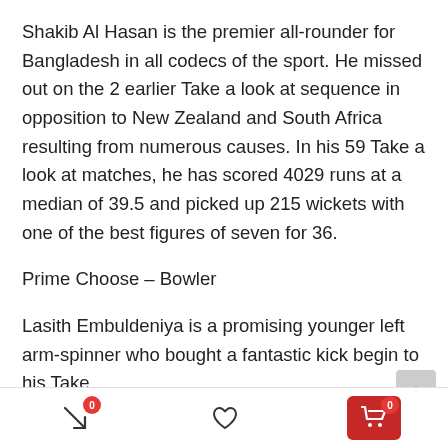Shakib Al Hasan is the premier all-rounder for Bangladesh in all codecs of the sport. He missed out on the 2 earlier Take a look at sequence in opposition to New Zealand and South Africa resulting from numerous causes. In his 59 Take a look at matches, he has scored 4029 runs at a median of 39.5 and picked up 215 wickets with one of the best figures of seven for 36.
Prime Choose – Bowler
Lasith Embuldeniya is a promising younger left arm-spinner who bought a fantastic kick begin to his Take